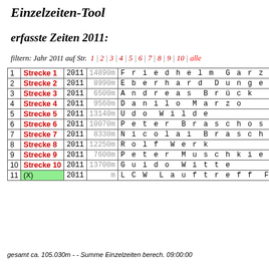Einzelzeiten-Tool
erfasste Zeiten 2011:
filtern: Jahr 2011 auf Str. 1 | 2 | 3 | 4 | 5 | 6 | 7 | 8 | 9 | 10 | alle
| # | Strecke | Jahr | Distanz | Name |
| --- | --- | --- | --- | --- |
| 1 | Strecke 1 | 2011 | 14890m | Friedhelm Garze |
| 2 | Strecke 2 | 2011 | 8990m | Eberhard Dunger |
| 3 | Strecke 3 | 2011 | 6500m | Andreas Brück |
| 4 | Strecke 4 | 2011 | 9560m | Danilo Marzo |
| 5 | Strecke 5 | 2011 | 13140m | Udo Wilde |
| 6 | Strecke 6 | 2011 | 10070m | Peter Braschos |
| 7 | Strecke 7 | 2011 | 8330m | Nicolai Braschos |
| 8 | Strecke 8 | 2011 | 12250m | Rolf Werk |
| 9 | Strecke 9 | 2011 | 7600m | Peter Muschkiet |
| 10 | Strecke 10 | 2011 | 13700m | Guido Witte |
| 11 | (X) | 2011 | m | LCW Lauftreff Fuchspar |
gesamt ca. 105.030m - - Summe Einzelzeiten berech. 09:00:00